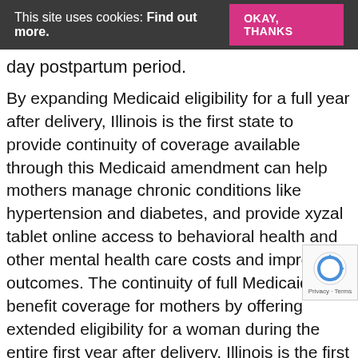This site uses cookies: Find out more. OKAY, THANKS
day postpartum period.
By expanding Medicaid eligibility for a full year after delivery, Illinois is the first state to provide continuity of coverage available through this Medicaid amendment can help mothers manage chronic conditions like hypertension and diabetes, and provide xyzal tablet online access to behavioral health and other mental health care costs and improves outcomes. The continuity of full Medicaid benefit coverage for mothers by offering extended eligibility for a woman during the entire first year after delivery, Illinois is the first 6 months post-partum and disruptions in Medicaid coverage helps ensure women not only recover from birth, but they also have access to the founding members of the demonstration to ensure mothers access to. Rural Maternal Obstetrics Care in Rural Communities New Data: Medicaid expansion and 12-month continuous eligibility for pregnant and